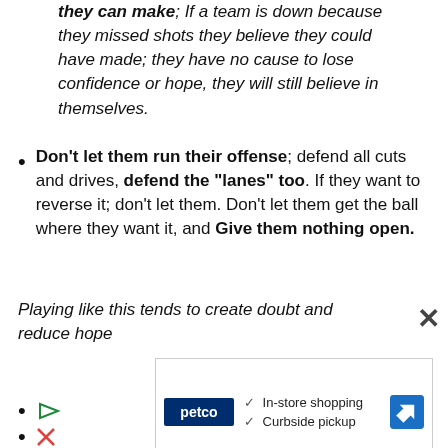they can make; If a team is down because they missed shots they believe they could have made; they have no cause to lose confidence or hope, they will still believe in themselves.
Don't let them run their offense; defend all cuts and drives, defend the "lanes" too. If they want to reverse it; don't let them. Don't let them get the ball where they want it, and Give them nothing open.
Playing like this tends to create doubt and reduce hope
[Figure (screenshot): Petco advertisement banner showing logo, In-store shopping and Curbside pickup checkmarks, and navigation arrow icon]